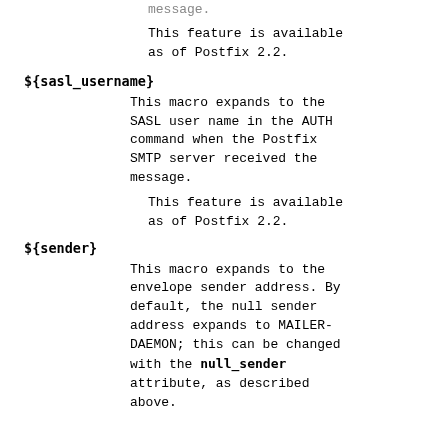message.
This feature is available as of Postfix 2.2.
${sasl_username}
This macro expands to the SASL user name in the AUTH command when the Postfix SMTP server received the message.
This feature is available as of Postfix 2.2.
${sender}
This macro expands to the envelope sender address. By default, the null sender address expands to MAILER-DAEMON; this can be changed with the null_sender attribute, as described above.